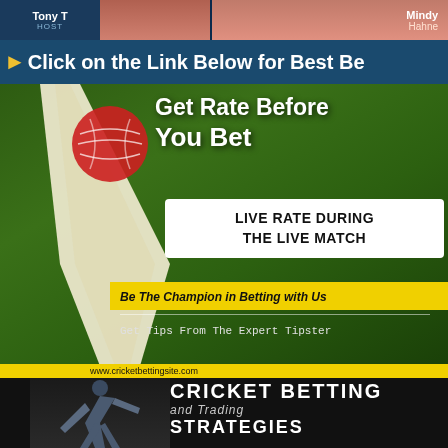[Figure (photo): Top strip showing TV show hosts - Tony T (HOST) on left and Mindy Hahne on right with a photo between them]
Click on the Link Below for Best Be
[Figure (photo): Cricket bat and red ball on green grass field with overlay text: Get Rate Before You Bet, LIVE RATE DURING THE LIVE MATCH, Be The Champion in Betting with Us, Get Tips From The Expert Tipster]
www.cricketbettingsite.com
[Figure (photo): Cricket batsman swinging bat on dark background with text: CRICKET BETTING and Trading STRATEGIES]